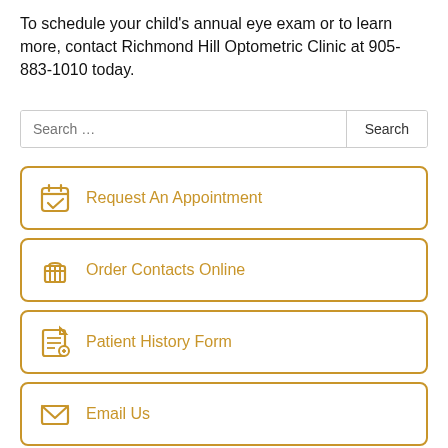To schedule your child's annual eye exam or to learn more, contact Richmond Hill Optometric Clinic at 905-883-1010 today.
Search ...
Request An Appointment
Order Contacts Online
Patient History Form
Email Us